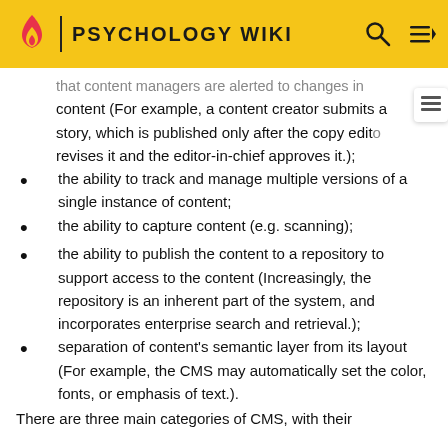PSYCHOLOGY WIKI
that content managers are alerted to changes in content (For example, a content creator submits a story, which is published only after the copy editor revises it and the editor-in-chief approves it.);
the ability to track and manage multiple versions of a single instance of content;
the ability to capture content (e.g. scanning);
the ability to publish the content to a repository to support access to the content (Increasingly, the repository is an inherent part of the system, and incorporates enterprise search and retrieval.);
separation of content's semantic layer from its layout (For example, the CMS may automatically set the color, fonts, or emphasis of text.).
There are three main categories of CMS, with their